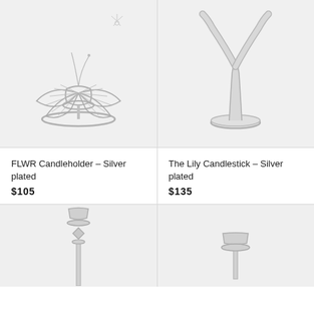[Figure (photo): FLWR Candleholder silver plated product photo - decorative butterfly-winged silver candle holder on plate]
[Figure (photo): The Lily Candlestick silver plated product photo - elegant Y-shaped silver candlestick on circular base]
FLWR Candleholder - Silver plated
$105
The Lily Candlestick - Silver plated
$135
[Figure (photo): Tall silver candlestick with decorative arrow and disc motif - partial view]
[Figure (photo): Short silver candlestick with flared top - partial view]